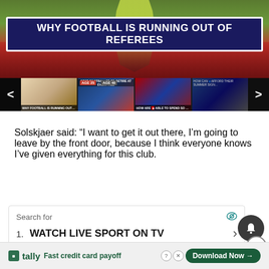[Figure (screenshot): Video thumbnail: Why Football Is Running Out Of Referees — shows referee raising hand, with dark blue banner header text over the image]
[Figure (screenshot): Horizontal scrolling thumbnail strip with 4 video thumbnails: (1) Why Football Is Running Out Of Referees, (2) Best Footballer To Retire At Every Age — Age 25 / Age 40, (3) How Are Barcelona Able To Spend So Much?, (4) How Can Chelsea Afford Their Summer Signings?]
Solskjaer said: “I want to get it out there, I’m going to leave by the front door, because I think everyone knows I’ve given everything for this club.
[Figure (screenshot): Advertisement box: Search for — WATCH LIVE SPORT ON TV with arrow, eye icon top-right. Notification bell icon. Close (X) button.]
[Figure (screenshot): Bottom banner ad: Tally logo, 'Fast credit card payoff' tagline, Download Now button, help and close icons]